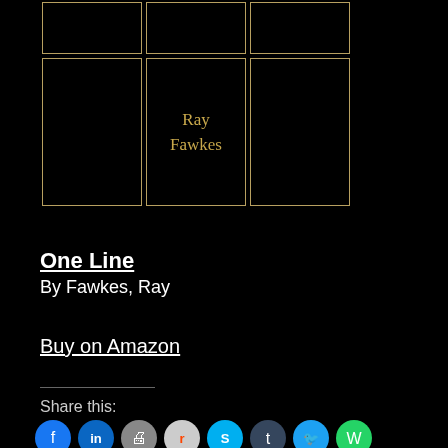[Figure (illustration): Book cover grid showing 6 black panels with gold borders arranged in 2 rows of 3. The center panel of the bottom row shows 'Ray Fawkes' text in gold serif font.]
One Line
By Fawkes, Ray
Buy on Amazon
Share this:
[Figure (infographic): Row of social media circular icon buttons: Facebook (blue), LinkedIn (blue), Print (grey), Reddit (light grey), Skype (cyan), Tumblr (dark), Twitter (blue), WhatsApp (green)]